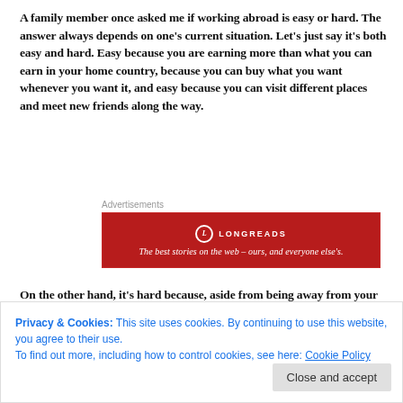A family member once asked me if working abroad is easy or hard. The answer always depends on one's current situation. Let's just say it's both easy and hard. Easy because you are earning more than what you can earn in your home country, because you can buy what you want whenever you want it, and easy because you can visit different places and meet new friends along the way.
Advertisements
[Figure (other): Longreads advertisement banner — red background with logo and tagline 'The best stories on the web – ours, and everyone else's.']
On the other hand, it's hard because, aside from being away from your family for an indefinite period of time, you are also putting
Privacy & Cookies: This site uses cookies. By continuing to use this website, you agree to their use.
To find out more, including how to control cookies, see here: Cookie Policy
Close and accept